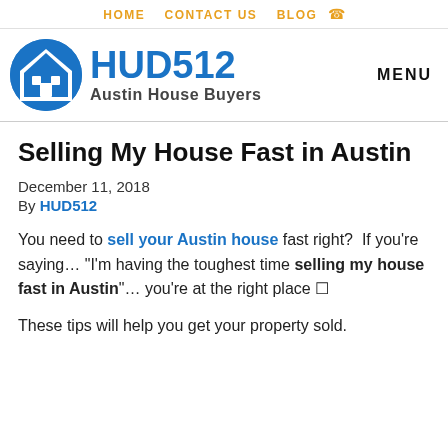HOME   CONTACT US   BLOG
[Figure (logo): HUD512 Austin House Buyers logo with blue circle house icon]
Selling My House Fast in Austin
December 11, 2018
By HUD512
You need to sell your Austin house fast right?  If you're saying… "I'm having the toughest time selling my house fast in Austin"… you're at the right place 🏠
These tips will help you get your property sold.